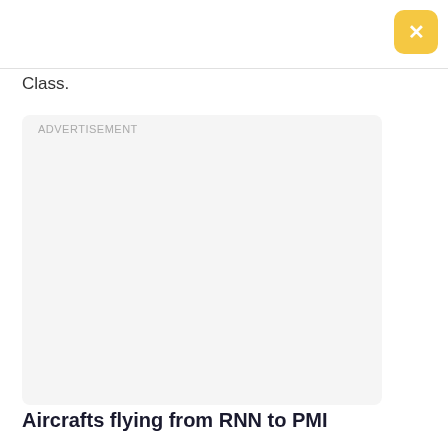Class.
[Figure (other): Advertisement placeholder box with light gray background and 'ADVERTISEMENT' label in top-left corner]
Aircrafts flying from RNN to PMI